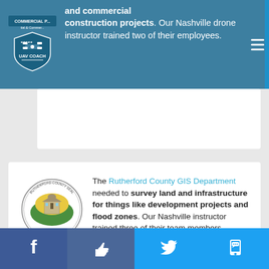[Figure (logo): UAV Coach logo - shield with drone, white on teal background, text 'UAV COACH' and 'Residential & Commercial']
and commercial construction projects. Our Nashville drone instructor trained two of their employees.
[Figure (logo): Rutherford County seal - circular badge with courthouse building on green Tennessee state shape, yellow background, text around border]
The Rutherford County GIS Department needed to survey land and infrastructure for things like development projects and flood zones. Our Nashville instructor trained three of their team members.
Facebook | Like | Twitter | SMS